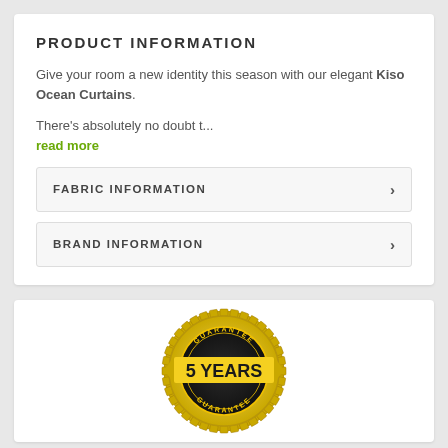PRODUCT INFORMATION
Give your room a new identity this season with our elegant Kiso Ocean Curtains.
There's absolutely no doubt t...
read more
FABRIC INFORMATION
BRAND INFORMATION
[Figure (illustration): 5 Years Guarantee badge/seal — circular gold badge with gear-like border, black center with 'GUARANTEE' text at top and bottom, gold ribbon across center with '5 YEARS' text in black]